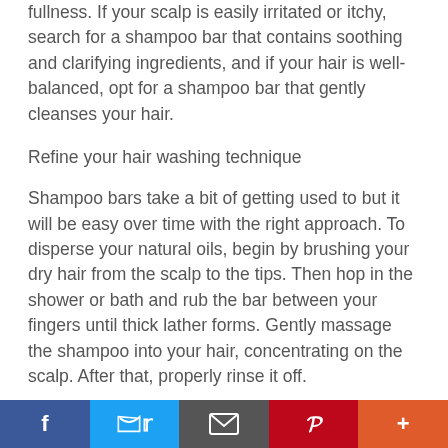fullness. If your scalp is easily irritated or itchy, search for a shampoo bar that contains soothing and clarifying ingredients, and if your hair is well-balanced, opt for a shampoo bar that gently cleanses your hair.
Refine your hair washing technique
Shampoo bars take a bit of getting used to but it will be easy over time with the right approach. To disperse your natural oils, begin by brushing your dry hair from the scalp to the tips. Then hop in the shower or bath and rub the bar between your fingers until thick lather forms. Gently massage the shampoo into your hair, concentrating on the scalp. After that, properly rinse it off.
Use soft water
Hard water can have an unhealthy impact on your hair...
Social share bar: Facebook, Twitter, Email, Pinterest, Plus